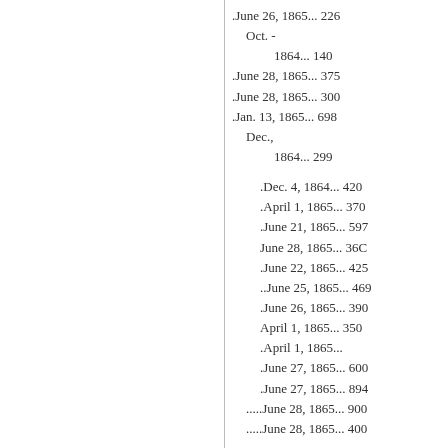.June 26, 1865... 226
Oct. -
1864... 140
.June 28, 1865... 375
.June 28, 1865... 300
.Jan. 13, 1865... 698
Dec.,
1864... 299
.Dec. 4, 1864... 420
.April 1, 1865... 370
.June 21, 1865... 597
June 28, 1865... 36C
.June 22, 1865... 425
..June 25, 1865... 469
.June 26, 1865... 390
April 1, 1865... 350
.April 1, 1865...
.June 27, 1865... 600
.June 27, 1865... 894
.....June 28, 1865... 900
.....June 28, 1865... 400
BY THE FLORIDA.